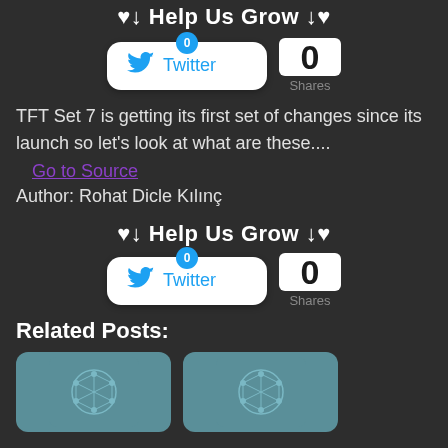♥↓ Help Us Grow ↓♥
[Figure (screenshot): Twitter share button with badge showing 0, and share count of 0 Shares]
TFT Set 7 is getting its first set of changes since its launch so let's look at what are these....
Go to Source
Author: Rohat Dicle Kılınç
♥↓ Help Us Grow ↓♥
[Figure (screenshot): Twitter share button with badge showing 0, and share count of 0 Shares]
Related Posts:
[Figure (photo): Two thumbnail images with teal/blue-gray background and geometric network icon]